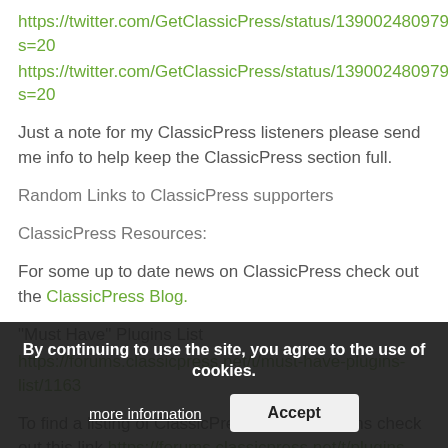https://twitter.com/GetClassicPress/status/13900248097912463 s=20
https://twitter.com/GetClassicPress/status/13900248097912463 s=20
Just a note for my ClassicPress listeners please send me info to help keep the ClassicPress section full.
Random Links to ClassicPress supporters
ClassicPress Resources:
For some up to date news on ClassicPress check out the ClassicPress Blog.
"Must Have" Plugins List
https://forums.classicpress.net/t/must-have-plugins-list/1163
To find a listing of ClassicPress specific plugins check out this link https://forums.classicpress.net/t/plugins-built-specifically-for... as I look forward to the day they have their own repository. I can still recall WP when it had a small repository.
By continuing to use the site, you agree to the use of cookies. more information  Accept